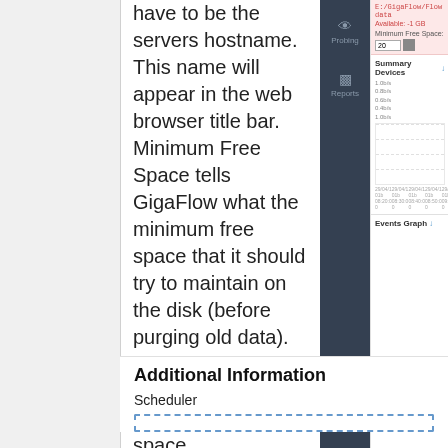have to be the servers hostname. This name will appear in the web browser title bar. Minimum Free Space tells GigaFlow what the minimum free space that it should try to maintain on the disk (before purging old data). This should typically be 10% of your total disk space.
[Figure (screenshot): Right panel showing GigaFlow interface with pink warning box showing path E:/GigaFlow/Flowdata, Available: -1 GB, Minimum Free Space field set to 20. Below is Summary Devices chart with y-axis labels (1.0b/s, 0.8b/s, 0.6b/s, 0.4b/s, 1.0b/s) and x-axis showing timestamps around 29/04/1 with times 08:20:0, 08:30:0, 08:40:0, 08:50:0, 09:00:0. Below that is Events Graph section.]
Additional Information
Scheduler